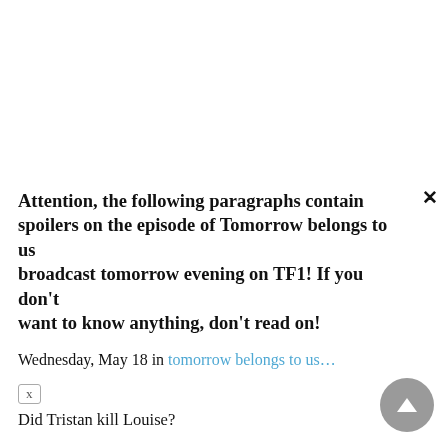Attention, the following paragraphs contain spoilers on the episode of Tomorrow belongs to us broadcast tomorrow evening on TF1! If you don't want to know anything, don't read on!
Wednesday, May 18 in tomorrow belongs to us...
Did Tristan kill Louise?
Damien confirms to Martin and the prosecutor Perraud that the toxicological analyzes of Arnaud Lesieur, found dead the day before in his car, confirm that he was indeed poisoned with digitalis by ingestion. And a tiger rosebud was found stuck in